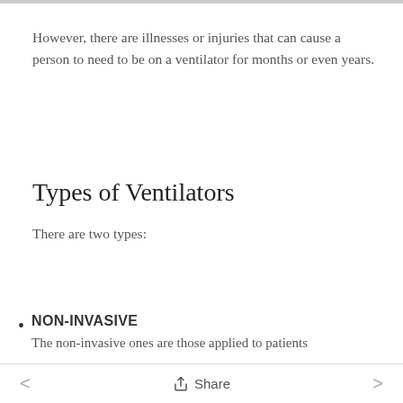However, there are illnesses or injuries that can cause a person to need to be on a ventilator for months or even years.
Types of Ventilators
There are two types:
NON-INVASIVE
The non-invasive ones are those applied to patients
< Share >